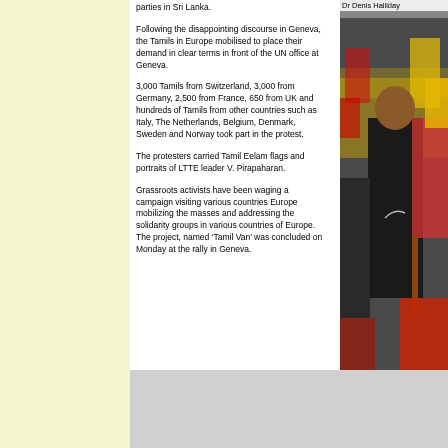parties in Sri Lanka.
Following the disappointing discourse in Geneva, the Tamils in Europe mobilised to place their demand in clear terms in front of the UN office at Geneva.
3,000 Tamils from Switzerland, 3,000 from Germany, 2,500 from France, 650 from UK and hundreds of Tamils from other countries such as Italy, The Netherlands, Belgium, Denmark, Sweden and Norway took part in the protest.
The protesters carried Tamil Eelam flags and portraits of LTTE leader V. Pirapaharan.
Grassroots activists have been waging a campaign visiting various countries Europe mobilizing the masses and addressing the solidarity groups in various countries of Europe. The project, named ‘Tamil Van’ was concluded on Monday at the rally in Geneva.
[Figure (photo): Photo of protesters at a rally, with caption 'Dr Denis Halliday' visible at top]